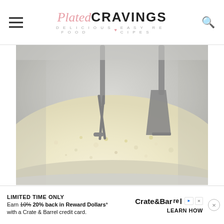Plated CRAVINGS — DELICIOUS FOOD ♥ EASY RECIPES
[Figure (photo): Close-up of a stand mixer bowl with pale yellow creamy batter being mixed by a metal whisk/paddle attachment. The bowl interior is silver/metallic and the batter shows small bubbles throughout.]
LIMITED TIME ONLY
Earn 10% 20% back in Reward Dollars* with a Crate & Barrel credit card.
Crate&Barrel LEARN HOW